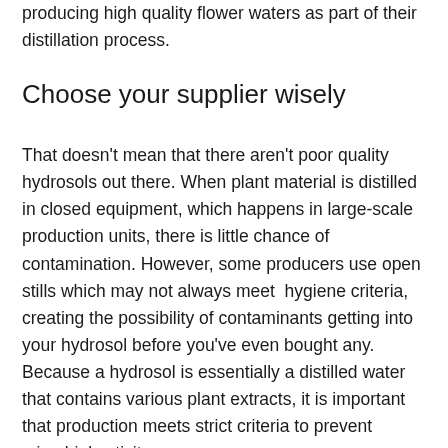producing high quality flower waters as part of their distillation process.
Choose your supplier wisely
That doesn't mean that there aren't poor quality hydrosols out there. When plant material is distilled in closed equipment, which happens in large-scale production units, there is little chance of contamination. However, some producers use open stills which may not always meet  hygiene criteria, creating the possibility of contaminants getting into your hydrosol before you've even bought any. Because a hydrosol is essentially a distilled water that contains various plant extracts, it is important that production meets strict criteria to prevent microbial activity.